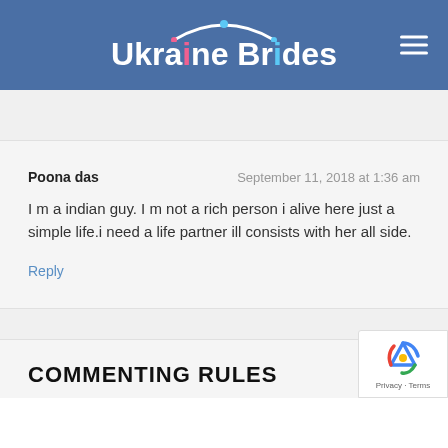[Figure (logo): Ukraine Brides website logo with arc above text on blue header background, with hamburger menu icon on the right]
Poona das
September 11, 2018 at 1:36 am
I m a indian guy. I m not a rich person i alive here just a simple life.i need a life partner ill consists with her all side.
Reply
COMMENTING RULES